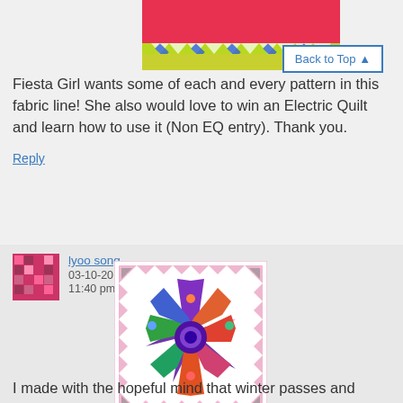[Figure (photo): Partial view of a colorful quilt or fabric with red, green and multicolor geometric patterns at the top of the page]
Back to Top ▲
Fiesta Girl wants some of each and every pattern in this fabric line! She also would love to win an Electric Quilt and learn how to use it (Non EQ entry). Thank you.
Reply
lyoo song
03-10-2015
11:40 pm
[Figure (photo): A colorful quilt block in an eight-pointed star design with floral and paisley patterns in purple, red, orange, blue, green and pink, with a decorative border]
I made with the hopeful mind that winter passes and spring comes